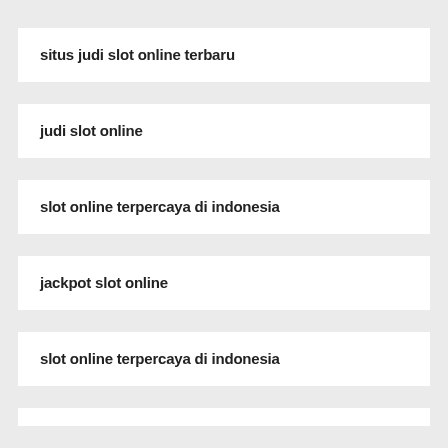situs judi slot online terbaru
judi slot online
slot online terpercaya di indonesia
jackpot slot online
slot online terpercaya di indonesia